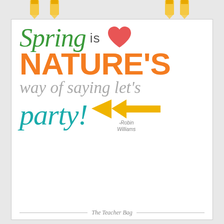[Figure (illustration): Top decorative banner with partial illustration (pencils/cartoon characters) visible at top edge]
Spring is ♥ NATURE'S way of saying let's party! -Robin Williams
The Teacher Bag